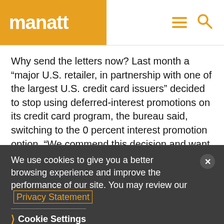manatt
Why send the letters now? Last month a “major U.S. retailer, in partnership with one of the largest U.S. credit card issuers” decided to stop using deferred-interest promotions on its credit card program, the bureau said, switching to the 0 percent interest promotion option. “We commend this decision and want to bring it to your attention,” the letters stated. The CFPB’s letters also put retailers and card issuers on notice that the bureau is keeping an eye on
We use cookies to give you a better browsing experience and improve the performance of our site. You may review our Privacy Statement
Cookie Settings